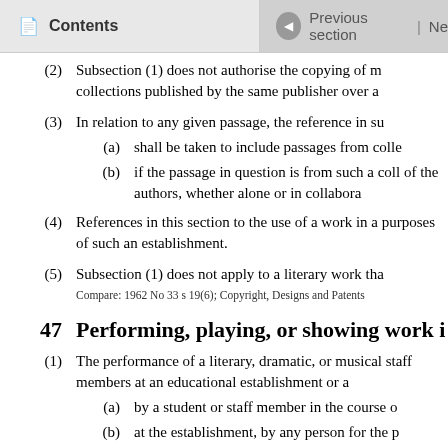Contents | Previous section | Ne
(2) Subsection (1) does not authorise the copying of m collections published by the same publisher over a
(3) In relation to any given passage, the reference in su
(a) shall be taken to include passages from colle
(b) if the passage in question is from such a coll of the authors, whether alone or in collabora
(4) References in this section to the use of a work in a purposes of such an establishment.
(5) Subsection (1) does not apply to a literary work tha
Compare: 1962 No 33 s 19(6); Copyright, Designs and Patents
47 Performing, playing, or showing work i
(1) The performance of a literary, dramatic, or musical staff members at an educational establishment or a
(a) by a student or staff member in the course o
(b) at the establishment, by any person for the p
is not a performance in public for the purposes of s
(2) The playing or showing of a work for the purposes of i